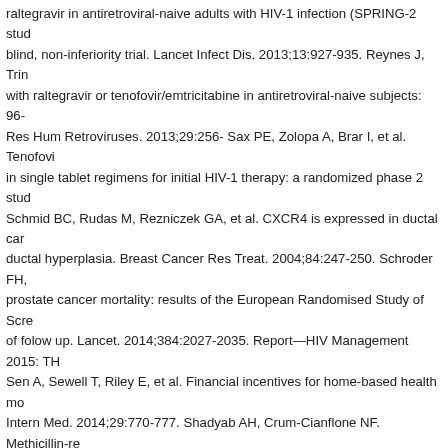raltegravir in antiretroviral-naive adults with HIV-1 infection (SPRING-2 study): double-blind, non-inferiority trial. Lancet Infect Dis. 2013;13:927-935. Reynes J, Trin… with raltegravir or tenofovir/emtricitabine in antiretroviral-naive subjects: 96-week… Res Hum Retroviruses. 2013;29:256- Sax PE, Zolopa A, Brar I, et al. Tenofovir… in single tablet regimens for initial HIV-1 therapy: a randomized phase 2 study… Schmid BC, Rudas M, Rezniczek GA, et al. CXCR4 is expressed in ductal carcinoma… ductal hyperplasia. Breast Cancer Res Treat. 2004;84:247-250. Schroder FH,… prostate cancer mortality: results of the European Randomised Study of Screening… of follow up. Lancet. 2014;384:2027-2035. Report—HIV Management 2015: The… Sen A, Sewell T, Riley E, et al. Financial incentives for home-based health monitoring… Intern Med. 2014;29:770-777. Shadyab AH, Crum-Cianflone NF. Methicillin-resistant… infections among HIV-infected persons in the era of highly active antiretroviral therapy… 2012;13:319- Shah MR, Cook N, Wong R, et al. Stimulating high impact HIV-related… recommendations from a multidisciplinary NHLBI working group on HIV-related… Cardiol. 2015;65:738-744. Shingai M, Nishimura Y, Klein F, et al. Antibody-mediated… infected with SHIV suppresses viraemia. Nature. 2013; 503:277-280. Simor A… controlled trial of chlorhexidine gluconate for washing, intranasal mupirocin… treatment for the eradication of methicillin-resistant Staphylococcus aureus… Sin NL, DiMatteo MR. Depression treatment enhances adherence to antiretroviral… 2014;47:259-269. Spreen W, Williams P, Margolis D, et al. Pharmacokinetics,… GSK1265744 and rilpivirine (TMC278) long-acting nanosuspensions in health… 2014;67:487-492. Staitleh B, Guidot DM. Noninfectious pulmonary complications… infection. Am J Med Sci. 2014;348:502-511. Stein JH, Currier JS, Hsue PY. A…